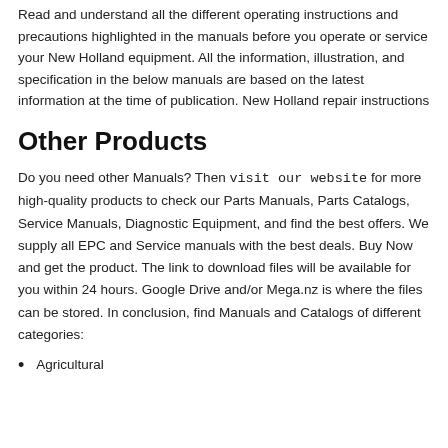Read and understand all the different operating instructions and precautions highlighted in the manuals before you operate or service your New Holland equipment. All the information, illustration, and specification in the below manuals are based on the latest information at the time of publication. New Holland repair instructions
Other Products
Do you need other Manuals? Then visit our website for more high-quality products to check our Parts Manuals, Parts Catalogs, Service Manuals, Diagnostic Equipment, and find the best offers. We supply all EPC and Service manuals with the best deals. Buy Now and get the product. The link to download files will be available for you within 24 hours. Google Drive and/or Mega.nz is where the files can be stored. In conclusion, find Manuals and Catalogs of different categories:
Agricultural